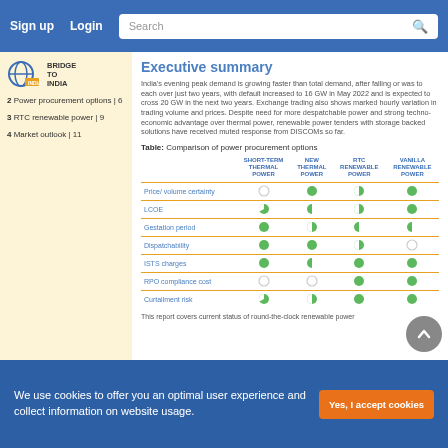Sign up  Login  Search
[Figure (logo): Bridge to India logo]
2 Power procurement options | 6
3 RTC renewable power | 9
4 Market outlook | 11
Executive summary
India's evening peak demand is growing faster than total demand, after falling or was to each over just two years, with default increased to 16 GW in May 2022 and is expected to cross 20 GW in the next two years. Exchange trading also shows marked hourly variation in trading volume and prices. Despite need for more despatchable power and strong techno-economic advantage over thermal power, renewable power tenders with storage backed solutions have received muted response from DISCOMSs so far.
Table: Comparison of power procurement options
|  | SHORT-TERM THERMAL POWER | NEW THERMAL POWER | RTC RENEWABLE POWER | VANILLA RENEWABLE POWER |
| --- | --- | --- | --- | --- |
| Price/volume certainty | ○ | ● | ◕ | ● |
| LCOE | ◔ | ◑ | ◕ | ● |
| Gestation period | ● | ◕ | ◑ | ◑ |
| Dispatchability | ● | ● | ◕ | ○ |
| ISTS charges | ● | ◑ | ◕ | ● |
| RPO compliance cost | ○ | ○ | ● | ● |
| Curtailment risk | ◔ | ◕ | ● | ● |
This report covers current status of round-the-clock renewable power
We use cookies to offer you an optimal user experience and collect information on website usage.   Yes, I accept cookies